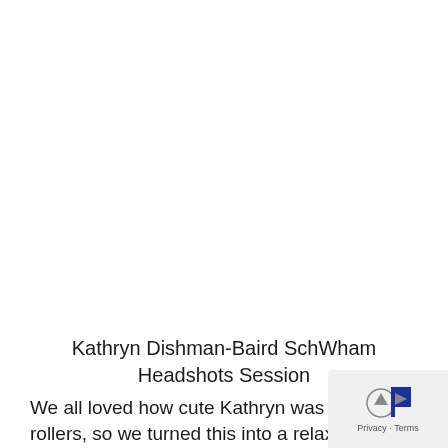Kathryn Dishman-Baird SchWham Headshots Session
We all loved how cute Kathryn was in her rollers, so we turned this into a relaxed sh...